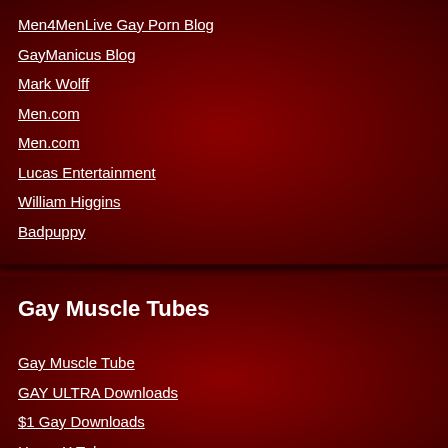Men4MenLive Gay Porn Blog
GayManicus Blog
Mark Wolff
Men.com
Men.com
Lucas Entertainment
William Higgins
Badpuppy
Gay Muscle Tubes
Gay Muscle Tube
GAY ULTRA Downloads
$1 Gay Downloads
Homo X Tube
Webmaster Resources